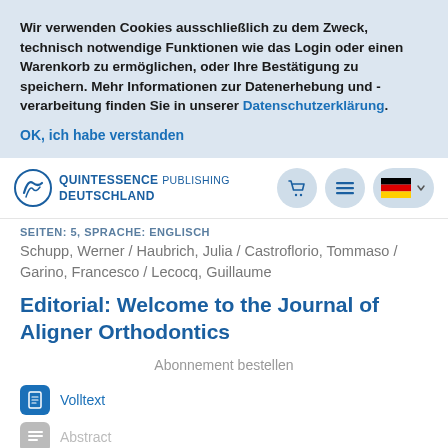Wir verwenden Cookies ausschließlich zu dem Zweck, technisch notwendige Funktionen wie das Login oder einen Warenkorb zu ermöglichen, oder Ihre Bestätigung zu speichern. Mehr Informationen zur Datenerhebung und -verarbeitung finden Sie in unserer Datenschutzerklärung.
OK, ich habe verstanden
[Figure (logo): Quintessence Publishing Deutschland logo with navigation buttons (cart, menu, German flag language selector)]
SEITEN: 5, SPRACHE: ENGLISCH
Schupp, Werner / Haubrich, Julia / Castroflorio, Tommaso / Garino, Francesco / Lecocq, Guillaume
Editorial: Welcome to the Journal of Aligner Orthodontics
Abonnement bestellen
Volltext
Abstract